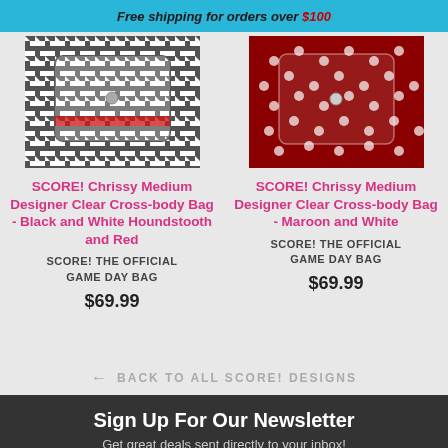Free shipping for orders over $100
[Figure (photo): SCORE! Chrissy Medium Designer Clear Cross-body Bag - Black and White Houndstooth and Red]
SCORE! Chrissy Medium Designer Clear Cross-body Bag - Black and White Houndstooth and Red
SCORE! THE OFFICIAL GAME DAY BAG
$69.99
[Figure (photo): SCORE! Chrissy Medium Designer Clear Cross-body Bag - Maroon and White]
SCORE! Chrissy Medium Designer Clear Cross-body Bag - Maroon and White
SCORE! THE OFFICIAL GAME DAY BAG
$69.99
← BACK TO ALL SCORE! DESIGNS
Sign Up For Our Newsletter
Get great deals sent directly to your inbox!
First Name